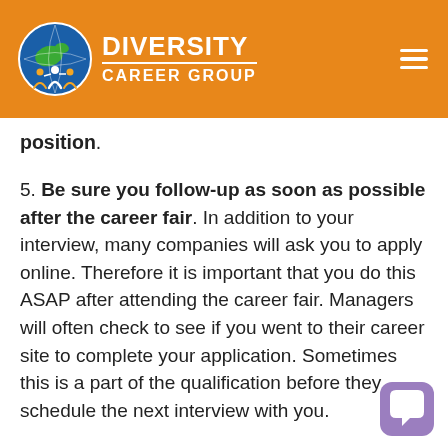Diversity Career Group
position.
5. Be sure you follow-up as soon as possible after the career fair. In addition to your interview, many companies will ask you to apply online. Therefore it is important that you do this ASAP after attending the career fair. Managers will often check to see if you went to their career site to complete your application. Sometimes this is a part of the qualification before they schedule the next interview with you.